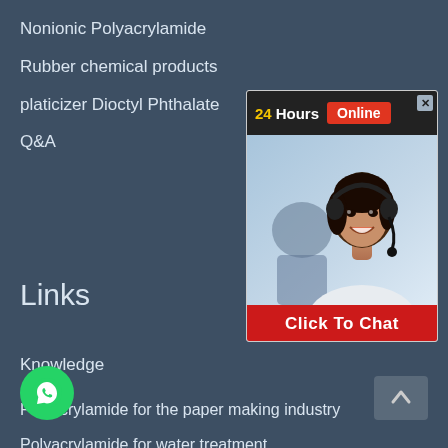Nonionic Polyacrylamide
Rubber chemical products
platicizer Dioctyl Phthalate
Q&A
[Figure (photo): Chat widget showing '24Hours Online' header with a smiling female customer service representative wearing a headset, and a red 'Click To Chat' button at the bottom]
Links
Knowledge
Polyacrylamide for the paper making industry
Polyacrylamide for water treatment
Polyacrylamide is used in the textile industry
Polyacrylamide mining applications
[Figure (logo): WhatsApp green circular button icon]
[Figure (other): Scroll-to-top button with upward arrow]